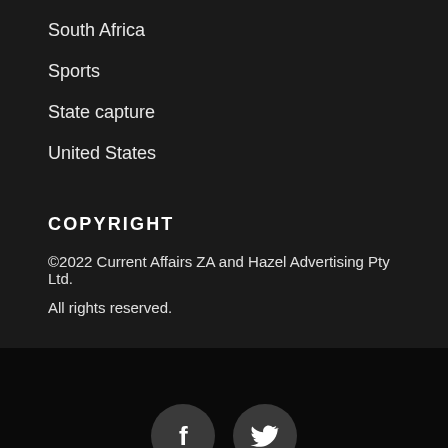South Africa
Sports
State capture
United States
COPYRIGHT
©2022 Current Affairs ZA and Hazel Advertising Pty Ltd.
All rights reserved.
[Figure (illustration): Social media icons: Facebook (f) and Twitter (bird) in dark circular buttons]